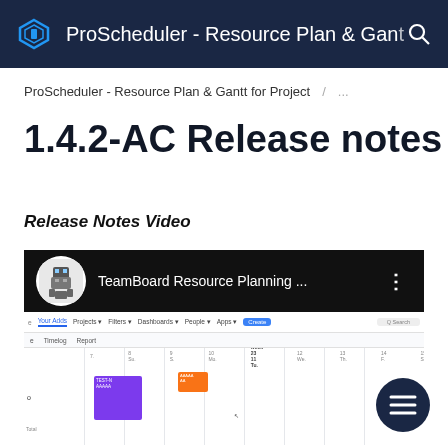ProScheduler - Resource Plan & Gan
ProScheduler - Resource Plan & Gantt for Project / ...
1.4.2-AC Release notes
Release Notes Video
[Figure (screenshot): YouTube video thumbnail showing TeamBoard Resource Planning channel with a Gantt chart project management app interface screenshot below it.]